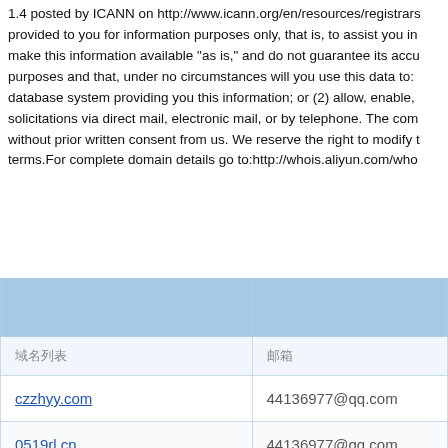1.4 posted by ICANN on http://www.icann.org/en/resources/registrars provided to you for information purposes only, that is, to assist you in make this information available "as is," and do not guarantee its accu purposes and that, under no circumstances will you use this data to: database system providing you this information; or (2) allow, enable, solicitations via direct mail, electronic mail, or by telephone. The com without prior written consent from us. We reserve the right to modify t terms.For complete domain details go to:http://whois.aliyun.com/who
| 域名列表 | 邮箱 |
| --- | --- |
| czzhyy.com | 44136977@qq.com |
| 0519rl.cn | 44136977@qq.com |
| 0519fk.cn | 44136977@qq.com |
| bagck.com | 44136977@qq.com |
| czrjyy.net | 44136977@qq.com |
|  |  |